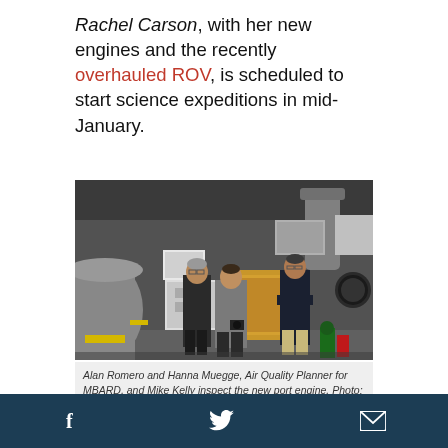Rachel Carson, with her new engines and the recently overhauled ROV, is scheduled to start science expeditions in mid-January.
[Figure (photo): Three people standing inside a ship engine room. Alan Romero and Hanna Muegge (Air Quality Planner for MBARD) and Mike Kelly inspect the new port engine. Photo by Todd Walsh, 2018 MBARI.]
Alan Romero and Hanna Muegge, Air Quality Planner for MBARD, and Mike Kelly inspect the new port engine. Photo: Todd Walsh © 2018 MBARI
f  [twitter bird]  [envelope]